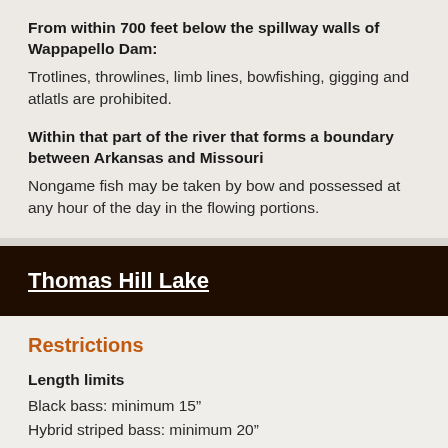From within 700 feet below the spillway walls of Wappapello Dam:
Trotlines, throwlines, limb lines, bowfishing, gigging and atlatls are prohibited.
Within that part of the river that forms a boundary between Arkansas and Missouri
Nongame fish may be taken by bow and possessed at any hour of the day in the flowing portions.
Thomas Hill Lake
Restrictions
Length limits
Black bass: minimum 15"
Hybrid striped bass: minimum 20"
Daily limit